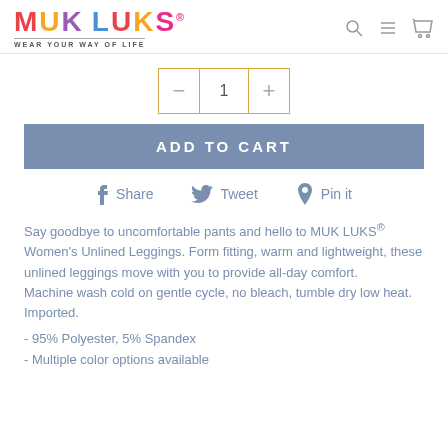MUK LUKS® WEAR YOUR WAY OF LIFE
[Figure (other): Quantity selector box with minus button, number 1, and plus button, bordered in gold/yellow]
[Figure (other): ADD TO CART button in slate blue]
[Figure (other): Social sharing links: Share, Tweet, Pin it]
Say goodbye to uncomfortable pants and hello to MUK LUKS® Women's Unlined Leggings. Form fitting, warm and lightweight, these unlined leggings move with you to provide all-day comfort.
Machine wash cold on gentle cycle, no bleach, tumble dry low heat. Imported.
- 95% Polyester, 5% Spandex
- Multiple color options available